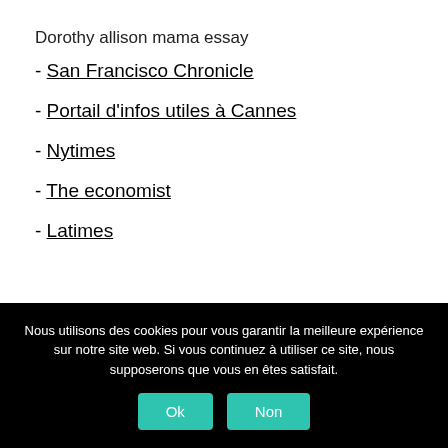Dorothy allison mama essay
- San Francisco Chronicle
- Portail d'infos utiles à Cannes
- Nytimes
- The economist
- Latimes
Nous utilisons des cookies pour vous garantir la meilleure expérience sur notre site web. Si vous continuez à utiliser ce site, nous supposerons que vous en êtes satisfait.